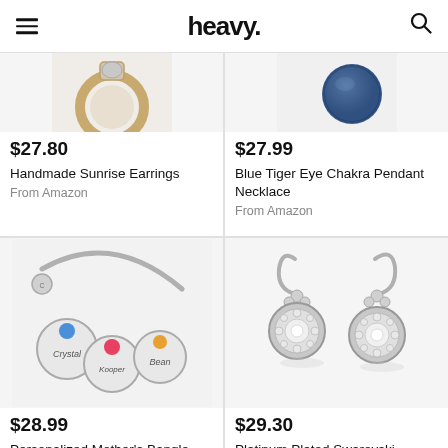heavy.
[Figure (photo): Partial image of Handmade Sunrise Earrings showing a gold/silver circular piece]
$27.80
Handmade Sunrise Earrings
From Amazon
[Figure (photo): Partial image of Blue Tiger Eye Chakra Pendant Necklace showing a dark blue spherical stone]
$27.99
Blue Tiger Eye Chakra Pendant Necklace
From Amazon
[Figure (photo): Personalized Mother's Bangle Bracelet with birthstone charms engraved with Crystal, Kooper, Bean and colorful gemstones]
$28.99
Personalized Mother's Bangle Bracelet With Birthstone
[Figure (photo): Platinum Plated Swarovski Zirconia Antique Drop earrings with circular crystal-studded drops]
$29.30
Platinum Plated Swarovski Zirconia Antique Drop